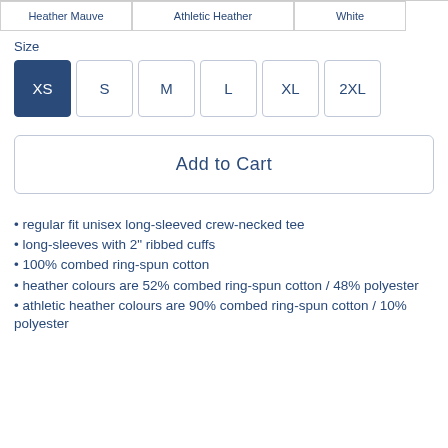| Heather Mauve | Athletic Heather | White |
Size
XS  S  M  L  XL  2XL
Add to Cart
regular fit unisex long-sleeved crew-necked tee
long-sleeves with 2" ribbed cuffs
100% combed ring-spun cotton
heather colours are 52% combed ring-spun cotton / 48% polyester
athletic heather colours are 90% combed ring-spun cotton / 10% polyester